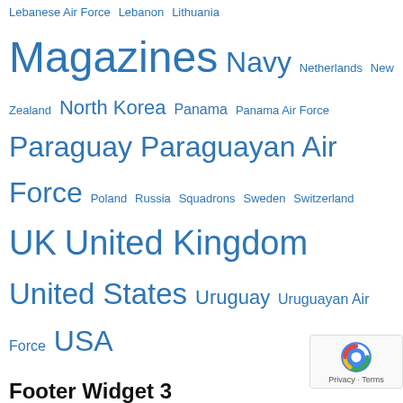Lebanese Air Force  Lebanon  Lithuania  Magazines  Navy  Netherlands  New Zealand  North Korea  Panama  Panama Air Force  Paraguay  Paraguayan Air Force  Poland  Russia  Squadrons  Sweden  Switzerland  UK  United Kingdom  United States  Uruguay  Uruguayan Air Force  USA
Footer Widget 3
Replace this widget content by going to Appearance / Widgets and dragging widgets into this widget area.
To remove or choose the number of footer widgets, go to Appearance / Customize /